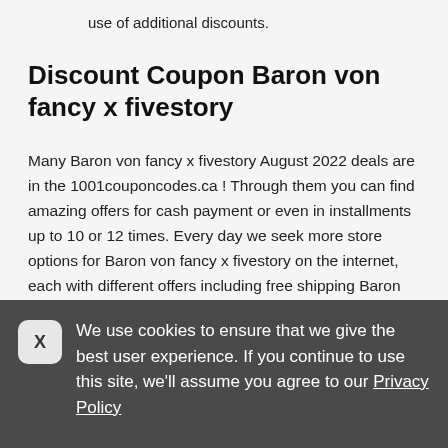use of additional discounts.
Discount Coupon Baron von fancy x fivestory
Many Baron von fancy x fivestory August 2022 deals are in the 1001couponcodes.ca ! Through them you can find amazing offers for cash payment or even in installments up to 10 or 12 times. Every day we seek more store options for Baron von fancy x fivestory on the internet, each with different offers including free shipping Baron von fancy x fivestory, installment plans and discounts anywhere in Canada. Once you sign up to our site, you will receive
We use cookies to ensure that we give the best user experience. If you continue to use this site, we'll assume you agree to our Privacy Policy